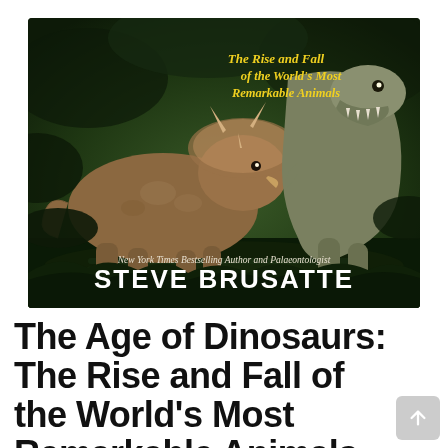[Figure (illustration): Book cover of 'The Age of Dinosaurs: The Rise and Fall of the World's Most Remarkable Animals' by Steve Brusatte. Shows two dinosaurs (a triceratops-like and a T-rex-like) on a dark green jungle background. Yellow subtitle text in top right corner reads 'The Rise and Fall of the World's Most Remarkable Animals'. White italic text reads 'New York Times Bestselling Author and Palaeontologist'. Bold white all-caps author name: STEVE BRUSATTE.]
The Age of Dinosaurs: The Rise and Fall of the World's Most Remarkable Animals